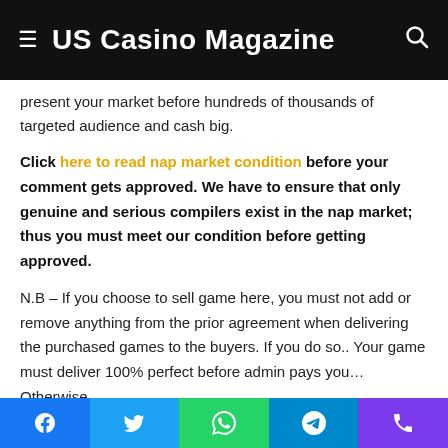US Casino Magazine
present your market before hundreds of thousands of targeted audience and cash big.
Click here to read nap market condition before your comment gets approved. We have to ensure that only genuine and serious compilers exist in the nap market; thus you must meet our condition before getting approved.
N.B – If you choose to sell game here, you must not add or remove anything from the prior agreement when delivering the purchased games to the buyers. If you do so.. Your game must deliver 100% perfect before admin pays you… Otherwise,